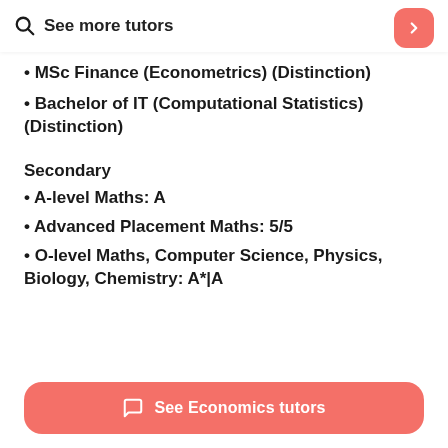See more tutors
• MSc Finance (Econometrics) (Distinction)
• Bachelor of IT (Computational Statistics) (Distinction)
Secondary
• A-level Maths: A
• Advanced Placement Maths: 5/5
• O-level Maths, Computer Science, Physics, Biology, Chemistry: A*|A
See Economics tutors